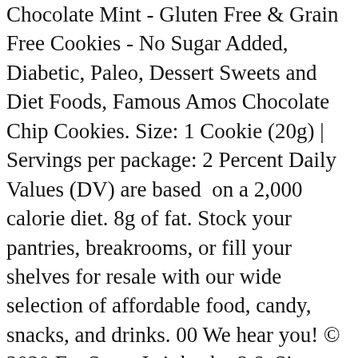Chocolate Mint - Gluten Free & Grain Free Cookies - No Sugar Added, Diabetic, Paleo, Dessert Sweets and Diet Foods, Famous Amos Chocolate Chip Cookies. Size: 1 Cookie (20g) | Servings per package: 2 Percent Daily Values (DV) are based on a 2,000 calorie diet. 8g of fat. Stock your pantries, breakrooms, or fill your shelves for resale with our wide selection of affordable food, candy, snacks, and drinks. 00 We hear you! © 2020 Fat Snax. Is it kosher? 6. Sign up today for special offers, new product announcements, and more Fat Yeah. Almond Flour, Butter, Chocolate Chips (Unsweetened Chocolate, Erythritol, Cocoa Butter, Stevia Extract, Sunflower Lecithin), Eggs, Coconut Flour, Sustainable Organic Palm Fruit Oil, NON-GMO Erythritol, Natural Vanilla Flavor, NON-GMO Xylitol, Vegetable Glycerin, Xanthan Gum, Sunflower Lecithin, Aluminum Free Baking